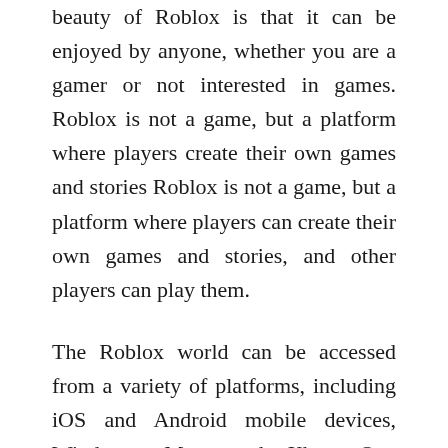beauty of Roblox is that it can be enjoyed by anyone, whether you are a gamer or not interested in games. Roblox is not a game, but a platform where players create their own games and stories Roblox is not a game, but a platform where players can create their own games and stories, and other players can play them.
The Roblox world can be accessed from a variety of platforms, including iOS and Android mobile devices, Windows, Mac, and Xbox One consoles. Many games can be played with the same quality regardless of the device used. For this reason, the popularity of mobile versions has skyrocketed in recent months. All players need is a mobile device and before long they can access the world of Roblox, meet friends, and experience a uniquely